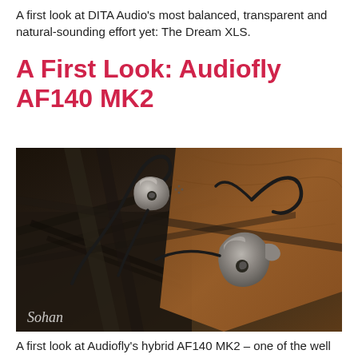A first look at DITA Audio's most balanced, transparent and natural-sounding effort yet: The Dream XLS.
A First Look: Audiofly AF140 MK2
[Figure (photo): Product photo of Audiofly AF140 MK2 in-ear monitors with over-ear hooks, silver metallic shells, black cables, resting on dark textured fabric with brown leather background. Photographer watermark 'Sohan' in bottom left corner.]
A first look at Audiofly's hybrid AF140 MK2 – one of the well